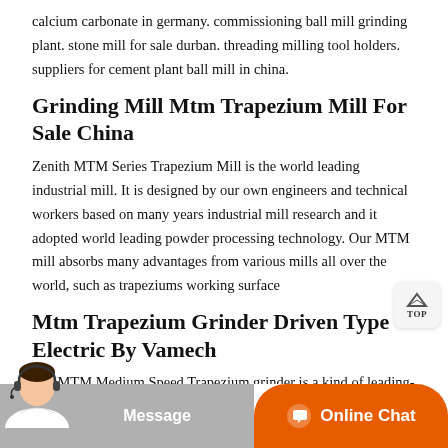calcium carbonate in germany. commissioning ball mill grinding plant. stone mill for sale durban. threading milling tool holders. suppliers for cement plant ball mill in china.
Grinding Mill Mtm Trapezium Mill For Sale China
Zenith MTM Series Trapezium Mill is the world leading industrial mill. It is designed by our own engineers and technical workers based on many years industrial mill research and it adopted world leading powder processing technology. Our MTM mill absorbs many advantages from various mills all over the world, such as trapeziums working surface
Mtm Trapezium Grinder Driven Type Electric By Vamech
0.2. MTM Medium Speed Trapezium grinder is a kind of leading-world-level industrial milling machinery. It is designed by our own engineers and technical workers, basing on industrial mill research of many years and adopting world-leading-powder processing technology. Now a